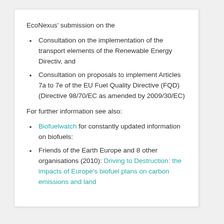EcoNexus' submission on the
Consultation on the implementation of the transport elements of the Renewable Energy Directiv, and
Consultation on proposals to implement Articles 7a to 7e of the EU Fuel Quality Directive (FQD) (Directive 98/70/EC as amended by 2009/30/EC)
For further information see also:
Biofuelwatch for constantly updated information on biofuels:
Friends of the Earth Europe and 8 other organisations (2010): Driving to Destruction: the impacts of Europe's biofuel plans on carbon emissions and land